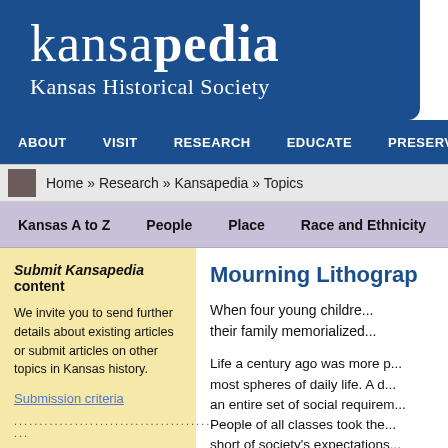kansapedia Kansas Historical Society
ABOUT   VISIT   RESEARCH   EDUCATE   PRESERVE
Home » Research » Kansapedia » Topics
Kansas A to Z   People   Place   Race and Ethnicity   Th
Mourning Lithograph
Submit Kansapedia content
We invite you to send further details about existing articles or submit articles on other topics in Kansas history.
Submission criteria
..............................................
When four young children... their family memorialized...
Life a century ago was more ... most spheres of daily life. A d... an entire set of social requirem... People of all classes took the... short of society's expectations...